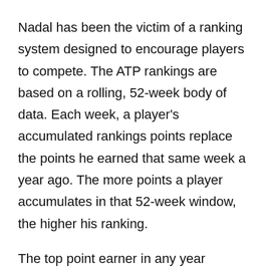Nadal has been the victim of a ranking system designed to encourage players to compete. The ATP rankings are based on a rolling, 52-week body of data. Each week, a player's accumulated rankings points replace the points he earned that same week a year ago. The more points a player accumulates in that 52-week window, the higher his ranking.
The top point earner in any year finishes atop the Race, and is also honored as the year-end No. 1. Then he begins the new year as the top dog, but he's still yoked to the same rolling tally as his peers—and under pressure to defend his large cache of points.
The Race may seem more dynamic but most